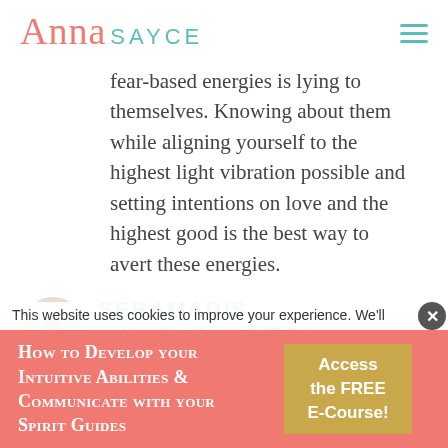Anna SAYCE
fear-based energies is lying to themselves. Knowing about them while aligning yourself to the highest light vibration possible and setting intentions on love and the highest good is the best way to avert these energies.
SERAMADIS on May 28, 2011 at 2:37 PM
This website uses cookies to improve your experience. We'll
How to Develop your Intuitive Abilities & Communicate with your Spirit Guides
Access the FREE E-Course!